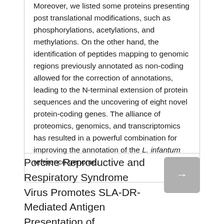Moreover, we listed some proteins presenting post translational modifications, such as phosphorylations, acetylations, and methylations. On the other hand, the identification of peptides mapping to genomic regions previously annotated as non-coding allowed for the correction of annotations, leading to the N-terminal extension of protein sequences and the uncovering of eight novel protein-coding genes. The alliance of proteomics, genomics, and transcriptomics has resulted in a powerful combination for improving the annotation of the L. infantum reference genome.
Porcine Reproductive and Respiratory Syndrome Virus Promotes SLA-DR-Mediated Antigen Presentation of Nonstructural Proteins To Evoke a Nonneutralizing Antibody Response In Vivo